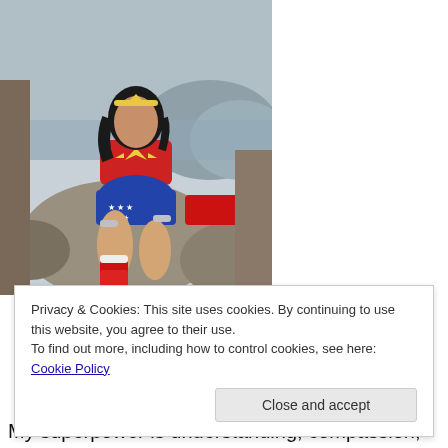[Figure (illustration): Classical oil painting style image of a woman dressed in Wonder Woman costume (red, white, blue stars costume with red boots and silver bracelets), seated on rocks in a natural landscape setting, looking down at her foot.]
Privacy & Cookies: This site uses cookies. By continuing to use this website, you agree to their use.
To find out more, including how to control cookies, see here: Cookie Policy
Close and accept
My superpower is understanding, compassion,